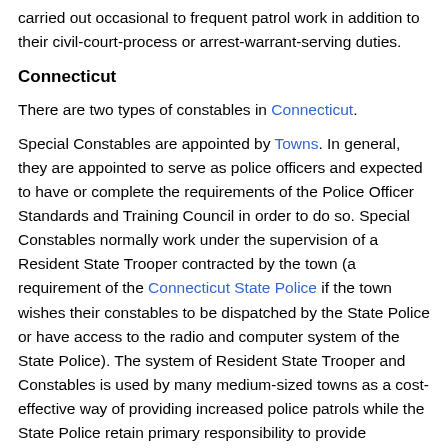carried out occasional to frequent patrol work in addition to their civil-court-process or arrest-warrant-serving duties.
Connecticut
There are two types of constables in Connecticut.
Special Constables are appointed by Towns. In general, they are appointed to serve as police officers and expected to have or complete the requirements of the Police Officer Standards and Training Council in order to do so. Special Constables normally work under the supervision of a Resident State Trooper contracted by the town (a requirement of the Connecticut State Police if the town wishes their constables to be dispatched by the State Police or have access to the radio and computer system of the State Police). The system of Resident State Trooper and Constables is used by many medium-sized towns as a cost-effective way of providing increased police patrols while the State Police retain primary responsibility to provide additional levels of supervision, dispatch, Detective, and other specialized services.
Constables who are elected officials are generally limited to serving civil processes within the town they are elected by. Elections are held